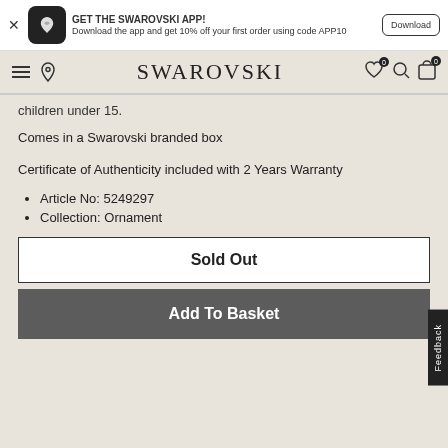GET THE SWAROVSKI APP! Download the app and get 10% off your first order using code APP10
SWAROVSKI
children under 15.
Comes in a Swarovski branded box
Certificate of Authenticity included with 2 Years Warranty
Article No: 5249297
Collection: Ornament
Sold Out
Add To Basket